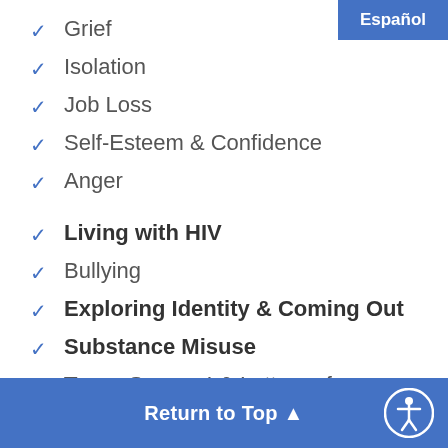Grief
Isolation
Job Loss
Self-Esteem & Confidence
Anger
Living with HIV
Bullying
Exploring Identity & Coming Out
Substance Misuse
Trans Support & Letters of Recommendation
Return to Top ▲